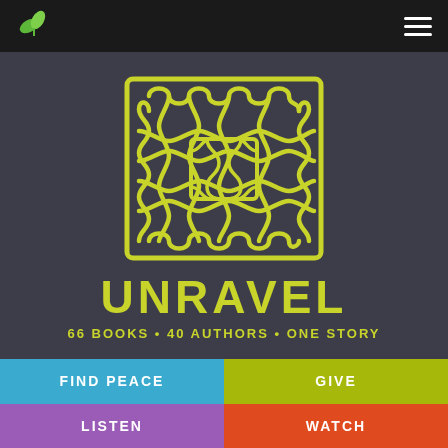[Figure (logo): Two overlapping green leaf icons forming a sprout logo in the top-left navigation bar]
[Figure (logo): Hamburger menu icon (three white horizontal lines) in the top-right navigation bar]
[Figure (illustration): Yellow-green Celtic knot pattern (interlaced rope-like design forming a square) on dark grey background]
UNRAVEL
66 BOOKS • 40 AUTHORS • ONE STORY
FIND PEACE
GIVE
LISTEN
WATCH